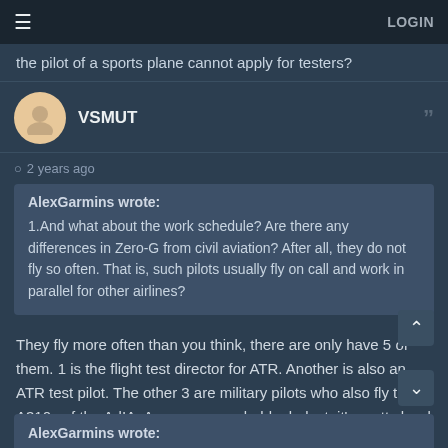LOGIN
the pilot of a sports plane cannot apply for testers?
VSMUT
2 years ago
AlexGarmins wrote:
1.And what about the work schedule? Are there any differences in Zero-G from civil aviation? After all, they do not fly so often. That is, such pilots usually fly on call and work in parallel for other airlines?
They fly more often than you think, there are only have 5 of them. 1 is the flight test director for ATR. Another is also an ATR test pilot. The other 3 are military pilots who also fly the A310s of the AdIA. As you can probably deduct, it's pretty hard to comply with the minimum requirements for that job.
AlexGarmins wrote: